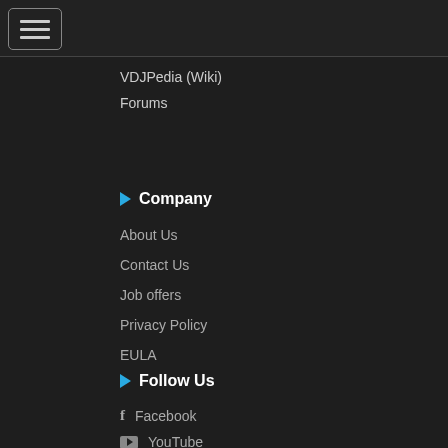[Figure (other): Hamburger menu icon button with three horizontal lines inside a rounded rectangle border]
VDJPedia (Wiki)
Forums
Company
About Us
Contact Us
Job offers
Privacy Policy
EULA
Follow Us
Facebook
YouTube